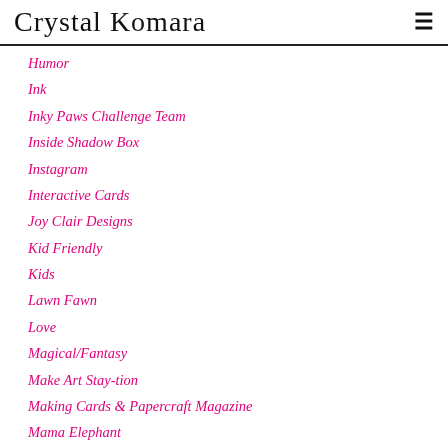Crystal Komara
Humor
Ink
Inky Paws Challenge Team
Inside Shadow Box
Instagram
Interactive Cards
Joy Clair Designs
Kid Friendly
Kids
Lawn Fawn
Love
Magical/Fantasy
Make Art Stay-tion
Making Cards & Papercraft Magazine
Mama Elephant
Mandala
#manuarycards